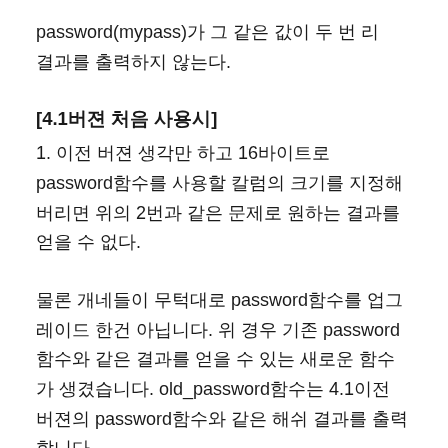password(mypass)가 그 같은 값이 두 번 리결과를 출력하지 않는다.
[4.1버젼 처음 사용시]
1. 이전 버젼 생각만 하고 16바이트로 password함수를 사용할 칼럼의 크기를 지정해 버리면 위의 2번과 같은 문제로 원하는 결과를 얻을 수 없다.
물론 개네들이 무턱대로 password함수를 업그레이드 한건 아닙니다. 위 경우 기존 password함수와 같은 결과를 얻을 수 있는 새로운 함수가 생겼습니다. old_password함수는 4.1이전 버젼의 password함수와 같은 해쉬 결과를 출력합니다.
업마나 유용한 경우 4.1고 대입되어 있겠냐만 그